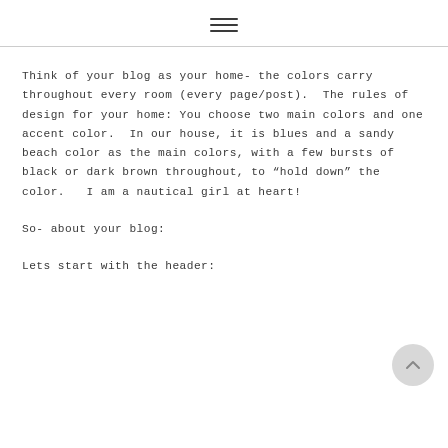≡
Think of your blog as your home- the colors carry throughout every room (every page/post).  The rules of design for your home: You choose two main colors and one accent color.  In our house, it is blues and a sandy beach color as the main colors, with a few bursts of black or dark brown throughout, to “hold down” the color.   I am a nautical girl at heart!
So- about your blog:
Lets start with the header: